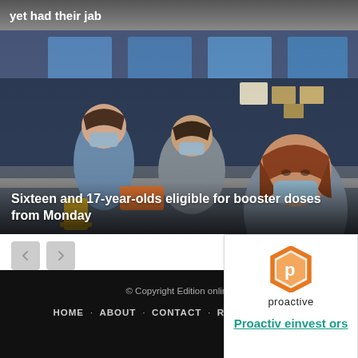yet had their jab
[Figure (photo): Healthcare workers wearing masks at a vaccination centre, blue-lit room with boxes in background, woman with auburn hair in foreground.]
Sixteen and 17-year-olds eligible for booster doses from Monday
[Figure (logo): Proactive investors logo — orange hexagon shape with white P, text 'proactive' below]
Proactiveinvestors
© Copyright Edition online
HOME · ABOUT · CONTACT · RSS FEED · Sub